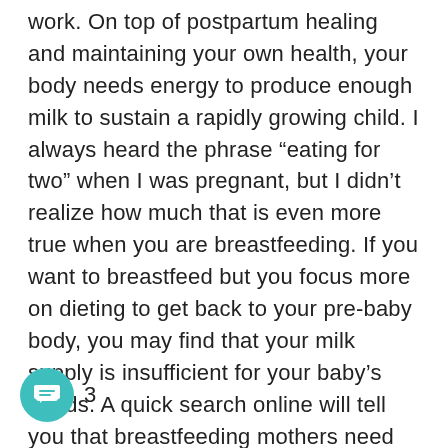work. On top of postpartum healing and maintaining your own health, your body needs energy to produce enough milk to sustain a rapidly growing child. I always heard the phrase “eating for two” when I was pregnant, but I didn’t realize how much that is even more true when you are breastfeeding. If you want to breastfeed but you focus more on dieting to get back to your pre-baby body, you may find that your milk supply is insufficient for your baby’s needs. A quick search online will tell you that breastfeeding mothers need 300-500 calories more than they normally would to support milk production. You can find calculators that will tell you what your macros are, but they don’t know you and your body. Every time I feel like I should get a pulse on how much I am eating, I find that I don’t feel energized or happy when